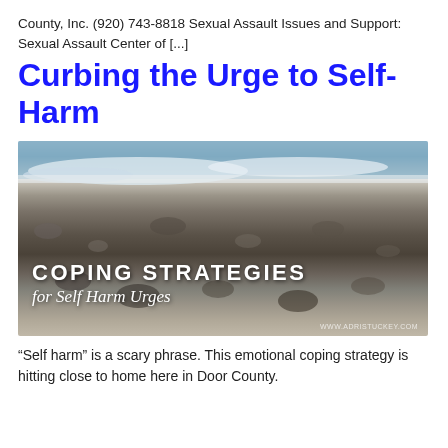County, Inc. (920) 743-8818 Sexual Assault Issues and Support: Sexual Assault Center of [...]
Curbing the Urge to Self-Harm
[Figure (photo): A beach scene with pebbles/rocks and ocean waves in the background. Overlaid text reads: 'COPING STRATEGIES for Self Harm Urges'. Watermark: WWW.ADRISTUCKEY.COM]
“Self harm” is a scary phrase. This emotional coping strategy is hitting close to home here in Door County.